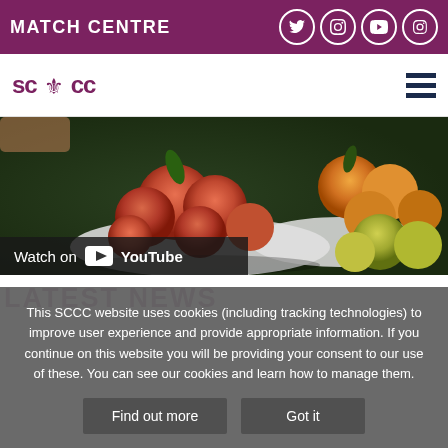MATCH CENTRE
[Figure (logo): SCCC logo with lion emblem in purple]
[Figure (photo): Bowls of fresh fruit including peaches, nectarines, oranges and green apples displayed at a market stall]
Watch on YouTube
LATEST NEWS
This SCCC website uses cookies (including tracking technologies) to improve user experience and provide appropriate information. If you continue on this website you will be providing your consent to our use of these. You can see our cookies and learn how to manage them.
Find out more  Got it